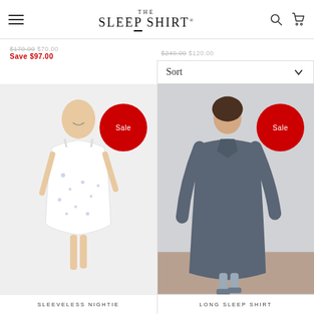THE SLEEP SHIRT
$170.00 $70.00 Save $97.00
$240.00 $120.00
Sort
[Figure (photo): Woman wearing a sleeveless floral nightie dress, light background, with a red Sale badge overlay]
SLEEVELESS NIGHTIE
[Figure (photo): Woman wearing a long grey sleep shirt coat, standing against a wall, with a red Sale badge overlay]
LONG SLEEP SHIRT